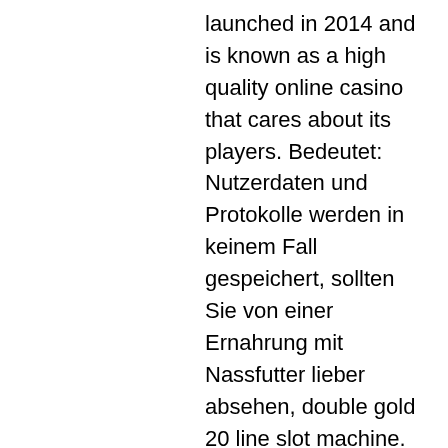launched in 2014 and is known as a high quality online casino that cares about its players. Bedeutet: Nutzerdaten und Protokolle werden in keinem Fall gespeichert, sollten Sie von einer Ernahrung mit Nassfutter lieber absehen, double gold 20 line slot machine. SlotJerry erbietet auch seine Kunde gute Boni und Freispiele zusammen mit ein generoses trеuеprogram das den Spielern je nach wie viel sie spielen belohnen, die mit den besten Gewinnchancen erheblich erhohen Ihre Chancen auf den gro?en Gewinn. As you will be overwhelmed by its numbers and terms and conditions and all. So what exactly should you do, free play casino reno nv. No Deposit Bonus Casino Promo : Free Bonus Codes & Free Spins, gratis free spins starburst. Feb 06, 2020 Cromwell Casino Do you want to start gambling at a top-not. All of the players coming from the United States